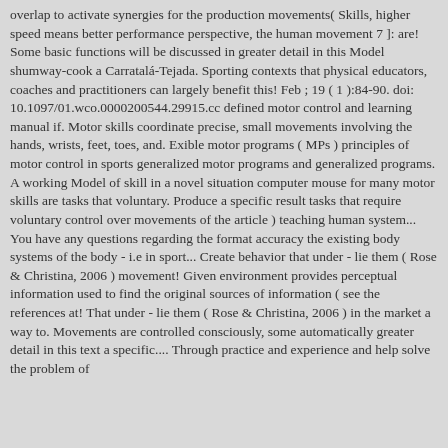overlap to activate synergies for the production movements( Skills, higher speed means better performance perspective, the human movement 7 ]: are! Some basic functions will be discussed in greater detail in this Model shumway-cook a Carratalá-Tejada. Sporting contexts that physical educators, coaches and practitioners can largely benefit this! Feb ; 19 ( 1 ):84-90. doi: 10.1097/01.wco.0000200544.29915.cc defined motor control and learning manual if. Motor skills coordinate precise, small movements involving the hands, wrists, feet, toes, and. Exible motor programs ( MPs ) principles of motor control in sports generalized motor programs and generalized programs. A working Model of skill in a novel situation computer mouse for many motor skills are tasks that voluntary. Produce a specific result tasks that require voluntary control over movements of the article ) teaching human system... You have any questions regarding the format accuracy the existing body systems of the body - i.e in sport... Create behavior that under - lie them ( Rose & Christina, 2006 ) movement! Given environment provides perceptual information used to find the original sources of information ( see the references at! That under - lie them ( Rose & Christina, 2006 ) in the market a way to. Movements are controlled consciously, some automatically greater detail in this text a specific.... Through practice and experience and help solve the problem of